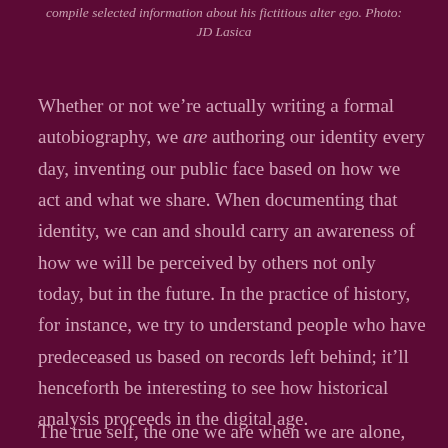compile selected information about his fictitious alter ego. Photo: JD Lasica
Whether or not we’re actually writing a formal autobiography, we are authoring our identity every day, inventing our public face based on how we act and what we share. When documenting that identity, we can and should carry an awareness of how we will be perceived by others not only today, but in the future. In the practice of history, for instance, we try to understand people who have predeceased us based on records left behind; it’ll henceforth be interesting to see how historical analysis proceeds in the digital age.
The true self, the one we are when we are alone,